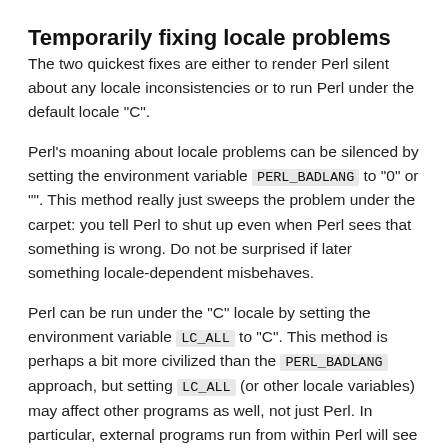Temporarily fixing locale problems
The two quickest fixes are either to render Perl silent about any locale inconsistencies or to run Perl under the default locale "C".
Perl's moaning about locale problems can be silenced by setting the environment variable PERL_BADLANG to "0" or "". This method really just sweeps the problem under the carpet: you tell Perl to shut up even when Perl sees that something is wrong. Do not be surprised if later something locale-dependent misbehaves.
Perl can be run under the "C" locale by setting the environment variable LC_ALL to "C". This method is perhaps a bit more civilized than the PERL_BADLANG approach, but setting LC_ALL (or other locale variables) may affect other programs as well, not just Perl. In particular, external programs run from within Perl will see these changes. If you make the new settings permanent (read on), all programs you run see the